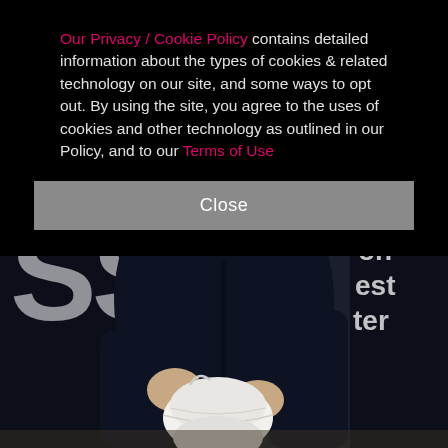Our Privacy / Cookie Policy contains detailed information about the types of cookies & related technology on our site, and some ways to opt out. By using the site, you agree to the uses of cookies and other technology as outlined in our Policy, and to our Terms of Use
Close
[Figure (photo): A man in a dark navy suit holding a white face mask/respirator in his hands, standing in front of a dark background with partial white text/logo visible.]